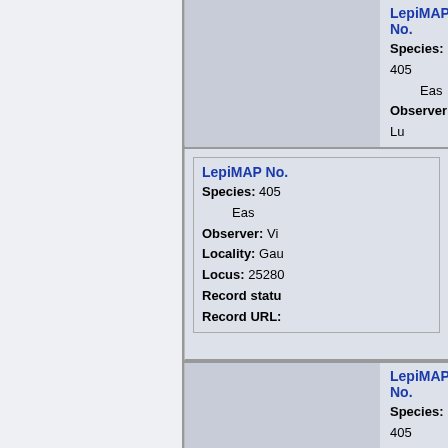LepiMAP No. | Species: 405 | Eas... | Observer: Lu... | Locality: Mpu... | Locus: 2531B... | Record status: | Record URL:
LepiMAP No. | Species: 405 | Eas... | Observer: Vi... | Locality: Gau... | Locus: 2528... | Record status: | Record URL:
LepiMAP No. | Species: 405 | Eas... | Observer: Sh... | Locality: Mpu... | Locus: 2431...